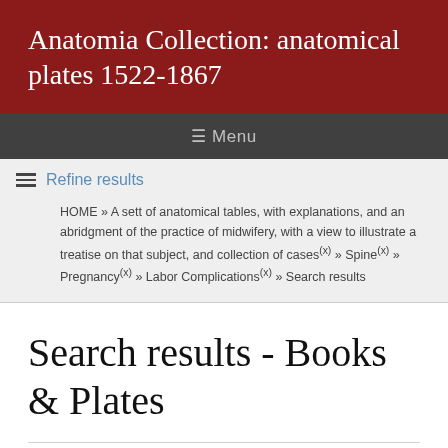Anatomia Collection: anatomical plates 1522-1867
≡ Menu
≡ Refine results
HOME » A sett of anatomical tables, with explanations, and an abridgment of the practice of midwifery, with a view to illustrate a treatise on that subject, and collection of cases(x) » Spine(x) » Pregnancy(x) » Labor Complications(x) » Search results
Search results - Books & Plates